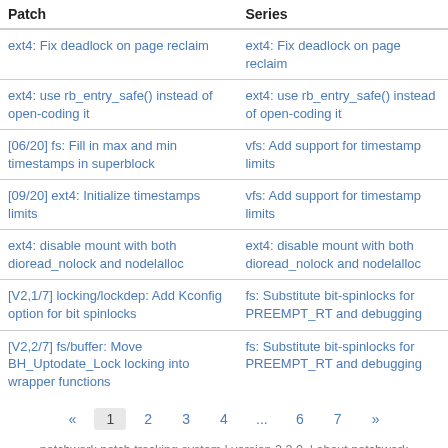| Patch | Series |
| --- | --- |
| ext4: Fix deadlock on page reclaim | ext4: Fix deadlock on page reclaim |
| ext4: use rb_entry_safe() instead of open-coding it | ext4: use rb_entry_safe() instead of open-coding it |
| [06/20] fs: Fill in max and min timestamps in superblock | vfs: Add support for timestamp limits |
| [09/20] ext4: Initialize timestamps limits | vfs: Add support for timestamp limits |
| ext4: disable mount with both dioread_nolock and nodelalloc | ext4: disable mount with both dioread_nolock and nodelalloc |
| [V2,1/7] locking/lockdep: Add Kconfig option for bit spinlocks | fs: Substitute bit-spinlocks for PREEMPT_RT and debugging |
| [V2,2/7] fs/buffer: Move BH_Uptodate_Lock locking into wrapper functions | fs: Substitute bit-spinlocks for PREEMPT_RT and debugging |
patchwork patch tracking system | version 2.2.0. | about patchwork